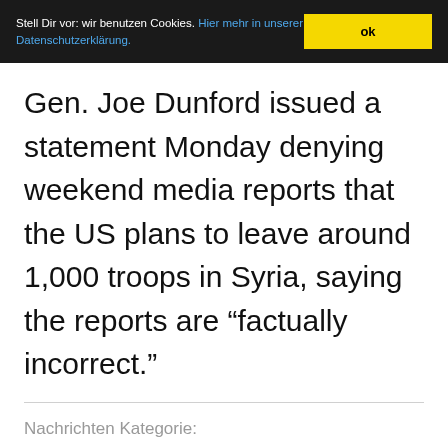Stell Dir vor: wir benutzen Cookies. Hier mehr in unserer Datenschutzerklärung. ok
Gen. Joe Dunford issued a statement Monday denying weekend media reports that the US plans to leave around 1,000 troops in Syria, saying the reports are “factually incorrect.”
Nachrichten Kategorie:
Kontrollmechanismen / Control